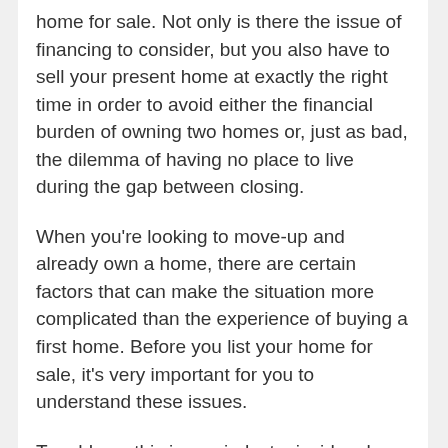home for sale. Not only is there the issue of financing to consider, but you also have to sell your present home at exactly the right time in order to avoid either the financial burden of owning two homes or, just as bad, the dilemma of having no place to live during the gap between closing.
When you're looking to move-up and already own a home, there are certain factors that can make the situation more complicated than the experience of buying a first home. Before you list your home for sale, it's very important for you to understand these issues.
To address this issue, industry insiders have prepared a FREE Special Report entitled "6 Mistakes to Avoid When Moving Up to a Larger Home".